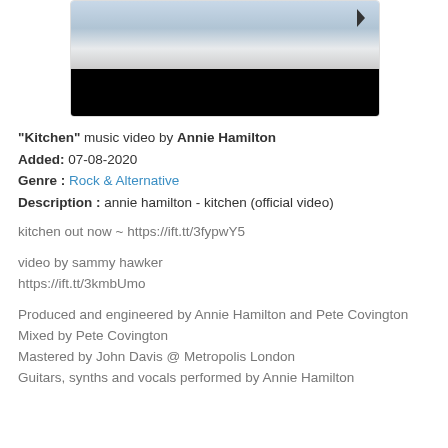[Figure (screenshot): Video thumbnail showing a winter outdoor scene (top) and a black bar (bottom), resembling a music video player embed.]
"Kitchen" music video by Annie Hamilton
Added: 07-08-2020
Genre : Rock & Alternative
Description : annie hamilton - kitchen (official video)
kitchen out now ~ https://ift.tt/3fypwY5
video by sammy hawker
https://ift.tt/3kmbUmo
Produced and engineered by Annie Hamilton and Pete Covington
Mixed by Pete Covington
Mastered by John Davis @ Metropolis London
Guitars, synths and vocals performed by Annie Hamilton